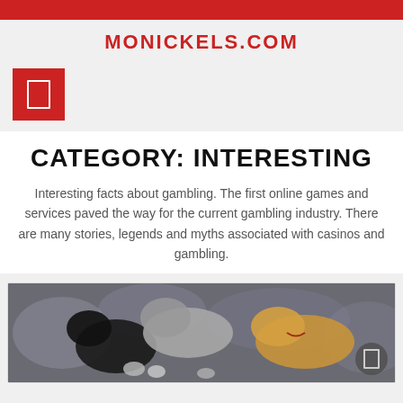MONICKELS.COM
[Figure (logo): Red square menu/hamburger icon box]
CATEGORY: INTERESTING
Interesting facts about gambling. The first online games and services paved the way for the current gambling industry. There are many stories, legends and myths associated with casinos and gambling.
[Figure (photo): Photo of dogs appearing to fight or play in a crowd setting, with a navigation circle icon overlay]